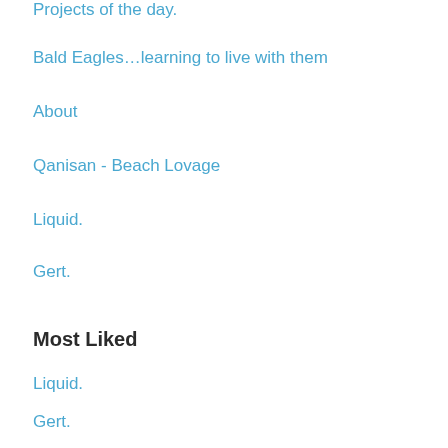Projects of the day.
Bald Eagles…learning to live with them
About
Qanisan - Beach Lovage
Liquid.
Gert.
Most Liked
Liquid.
Gert.
Unconventional.
Other Links
WordPress.com